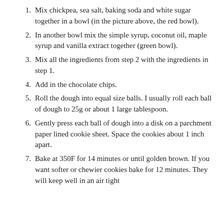Mix chickpea, sea salt, baking soda and white sugar together in a bowl (in the picture above, the red bowl).
In another bowl mix the simple syrup, coconut oil, maple syrup and vanilla extract together (green bowl).
Mix all the ingredients from step 2 with the ingredients in step 1.
Add in the chocolate chips.
Roll the dough into equal size balls. I usually roll each ball of dough to 25g or about 1 large tablespoon.
Gently press each ball of dough into a disk on a parchment paper lined cookie sheet. Space the cookies about 1 inch apart.
Bake at 350F for 14 minutes or until golden brown. If you want softer or chewier cookies bake for 12 minutes. They will keep well in an air tight